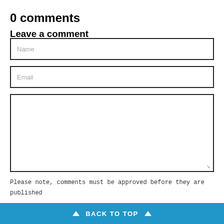0 comments
Leave a comment
Name
Email
Please note, comments must be approved before they are published
▲ BACK TO TOP ▲